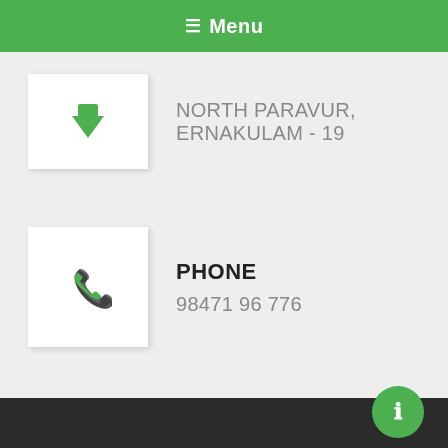Menu
NORTH PARAVUR, ERNAKULAM - 19
PHONE
98471 96 776
E-MAIL
ROOFWORLD.KERALA@GMAIL.COM